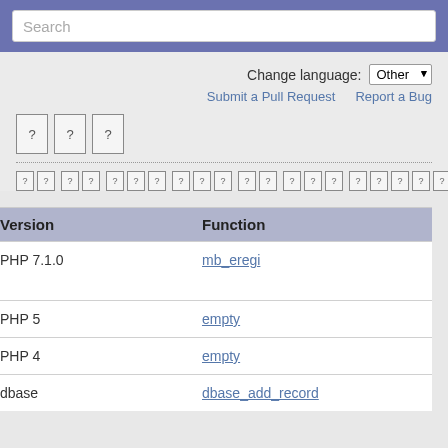Search
Change language: Other
Submit a Pull Request   Report a Bug
[Figure (other): Three placeholder/unknown character boxes arranged in a row]
[Unknown characters line with period]
| Version | Function |
| --- | --- |
| PHP 7.1.0 | mb_eregi |
| PHP 5 | empty |
| PHP 4 | empty |
| dbase | dbase_add_record |